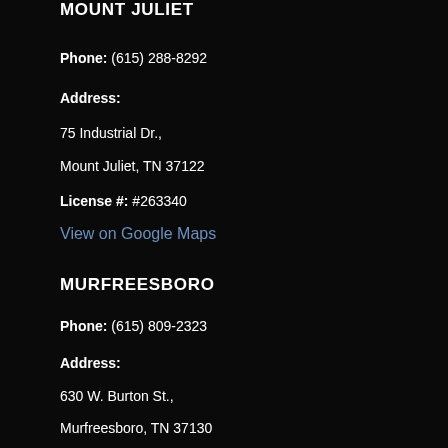MOUNT JULIET
Phone: (615) 288-8292
Address:
75 Industrial Dr.,
Mount Juliet, TN 37122
License #: #263340
View on Google Maps
MURFREESBORO
Phone: (615) 809-2323
Address:
630 W. Burton St.,
Murfreesboro, TN 37130
License #: #261865
View on Google Maps
WEST NASHVILLE
Phone: (615) 543-3334